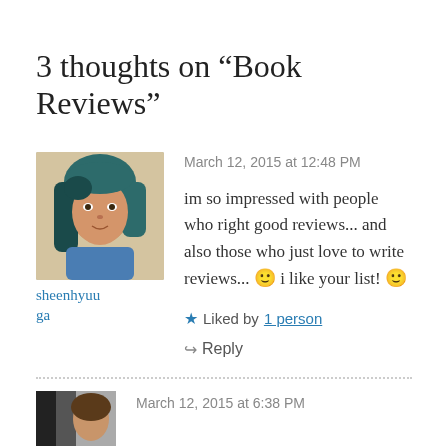3 thoughts on “Book Reviews”
March 12, 2015 at 12:48 PM
[Figure (photo): Profile photo of commenter sheenhyuuga — young woman with teal-dyed hair]
sheenhyuuga
im so impressed with people who right good reviews... and also those who just love to write reviews... 🙂 i like your list! 🙂
★ Liked by 1 person
↪ Reply
March 12, 2015 at 6:38 PM